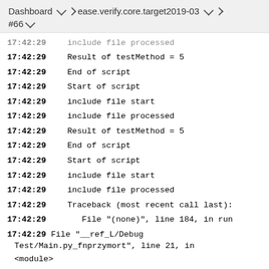Dashboard > ease.verify.core.target2019-03 > #66
17:42:29  include file processed
17:42:29  Result of testMethod = 5
17:42:29  End of script
17:42:29  Start of script
17:42:29  include file start
17:42:29  include file processed
17:42:29  Result of testMethod = 5
17:42:29  End of script
17:42:29  Start of script
17:42:29  include file start
17:42:29  include file processed
17:42:29  Traceback (most recent call last):
17:42:29     File "(none)", line 184, in run
17:42:29     File "__ref_L/Debug Test/Main.py_fnprzymort", line 21, in <module>
17:42:29     File "__ref_L/Debug Test/Main.py fnprzymort", line 18, in